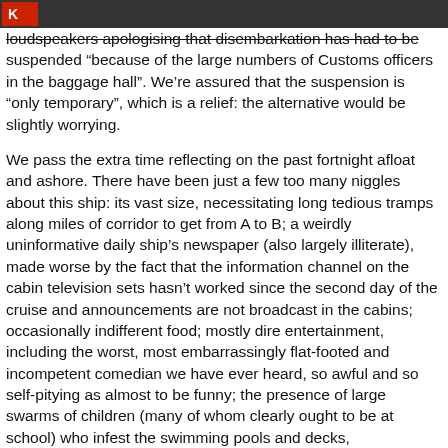[navigation bar with icon]
loudspeakers apologising that disembarkation has had to be suspended “because of the large numbers of Customs officers in the baggage hall”. We’re assured that the suspension is “only temporary”, which is a relief: the alternative would be slightly worrying.
We pass the extra time reflecting on the past fortnight afloat and ashore. There have been just a few too many niggles about this ship: its vast size, necessitating long tedious tramps along miles of corridor to get from A to B; a weirdly uninformative daily ship’s newspaper (also largely illiterate), made worse by the fact that the information channel on the cabin television sets hasn’t worked since the second day of the cruise and announcements are not broadcast in the cabins; occasionally indifferent food; mostly dire entertainment, including the worst, most embarrassingly flat-footed and incompetent comedian we have ever heard, so awful and so self-pitying as almost to be funny; the presence of large swarms of children (many of whom clearly ought to be at school) who infest the swimming pools and decks,